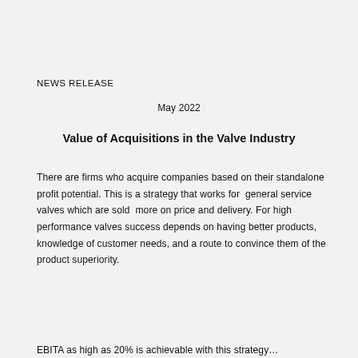NEWS RELEASE
May 2022
Value of Acquisitions in the Valve Industry
There are firms who acquire companies based on their standalone profit potential. This is a strategy that works for general service valves which are sold more on price and delivery. For high performance valves success depends on having better products, knowledge of customer needs, and a route to convince them of the product superiority.
EBITA as high as 20% is achievable with this strategy...